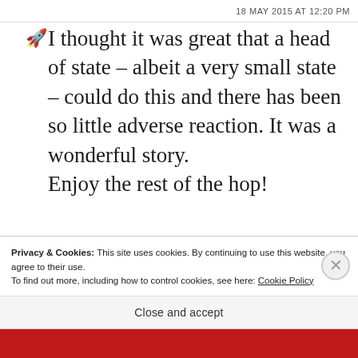18 MAY 2015 AT 12:20 PM
I thought it was great that a head of state – albeit a very small state – could do this and there has been so little adverse reaction. It was a wonderful story. Enjoy the rest of the hop!
★ Like
Privacy & Cookies: This site uses cookies. By continuing to use this website, you agree to their use.
To find out more, including how to control cookies, see here: Cookie Policy
Close and accept